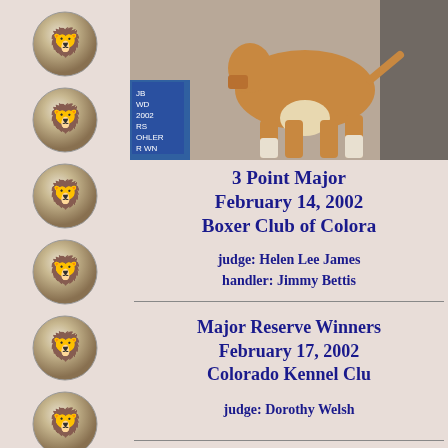[Figure (illustration): Six decorative silver lion head medallion icons arranged vertically on the left column of the page]
[Figure (photo): Photo of a fawn Boxer dog standing at a dog show, with a blue show ribbon/sign visible on the left side showing JB, WD, 2002, RS, OHLER, R WN]
3 Point Major
February 14, 2002
Boxer Club of Colorado
judge: Helen Lee James
handler: Jimmy Bettis
Major Reserve Winners
February 17, 2002
Colorado Kennel Club
judge: Dorothy Welsh